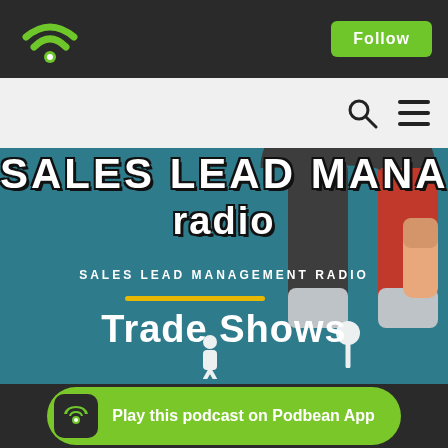Sales Lead Management Radio - Podbean navigation header with Follow button
[Figure (screenshot): Podbean podcast app page for Sales Lead Management Radio showing a teal banner with a magnet illustration holding a person, text 'SALES LEAD MANAGEMENT RADIO' and 'Trade Shows', and a Play this podcast on Podbean App footer button]
SALES LEAD MANAGEMENT RADIO
Trade Shows
Play this podcast on Podbean App